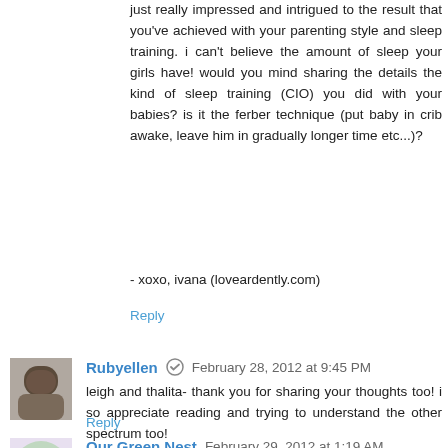just really impressed and intrigued to the result that you've achieved with your parenting style and sleep training. i can't believe the amount of sleep your girls have! would you mind sharing the details the kind of sleep training (CIO) you did with your babies? is it the ferber technique (put baby in crib awake, leave him in gradually longer time etc...)?
- xoxo, ivana (loveardently.com)
Reply
Rubyellen  February 28, 2012 at 9:45 PM
leigh and thalita- thank you for sharing your thoughts too! i so appreciate reading and trying to understand the other spectrum too!
Reply
Our Green Nest  February 29, 2012 at 1:19 AM
The cupcakes look yummy! We attachment/natural parent and certainly don't have "structure" but I do think a routine...